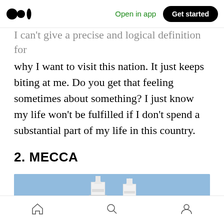Medium logo | Open in app | Get started
I can't give a precise and logical definition for why I want to visit this nation. It just keeps biting at me. Do you get that feeling sometimes about something? I just know my life won't be fulfilled if I don't spend a substantial part of my life in this country.
2. MECCA
[Figure (photo): Two white minarets of a mosque against a clear blue sky, with lower building structures visible at the base. Photo taken in Mecca.]
Navigation bar with home, search, and profile icons